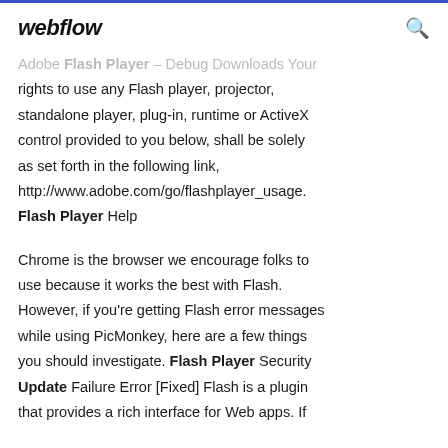webflow
Adobe Flash Player – Debug Downloads Your rights to use any Flash player, projector, standalone player, plug-in, runtime or ActiveX control provided to you below, shall be solely as set forth in the following link, http://www.adobe.com/go/flashplayer_usage. Flash Player Help
Chrome is the browser we encourage folks to use because it works the best with Flash. However, if you're getting Flash error messages while using PicMonkey, here are a few things you should investigate. Flash Player Security Update Failure Error [Fixed] Flash is a plugin that provides a rich interface for Web apps. If